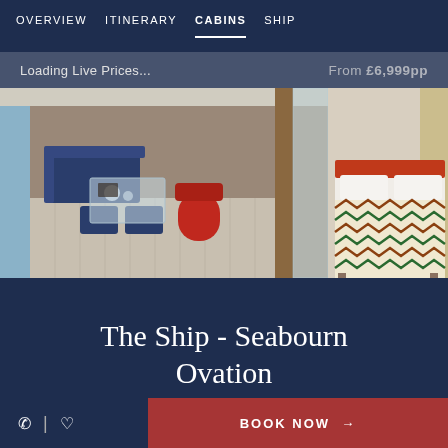OVERVIEW  ITINERARY  CABINS  SHIP
Loading Live Prices...   From £6,999pp
[Figure (photo): Interior of a luxury cruise ship cabin showing lounge area with blue seating, red accent chair, glass table on the left, and bedroom area with a white bed with colorful zigzag patterned bedspread on the right]
The Ship - Seabourn Ovation
BOOK NOW →